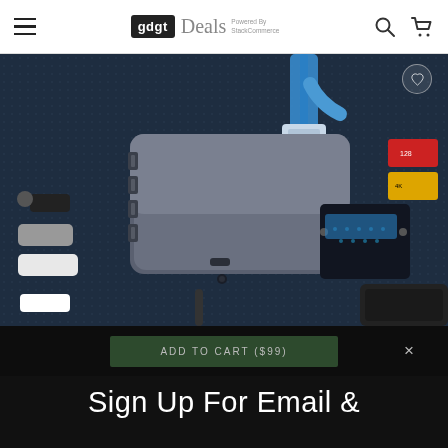gdgt Deals Powered By StackCommerce
[Figure (photo): A USB-C hub/docking station photographed on a dark textured surface, showing multiple USB-A ports, a VGA port, audio jack, and various connected cables and memory cards including an Ethernet cable, USB drives, and SD cards.]
ADD TO CART ($99)
Sign Up For Email &